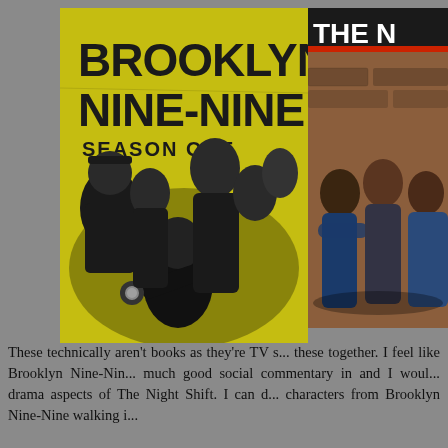[Figure (photo): Brooklyn Nine-Nine Season One TV show poster with yellow background and cast members in black and white, featuring the show title in bold black letters]
[Figure (photo): Partial image of another TV show (The Night Shift) showing cast members standing against a wall, partially cropped on the right edge]
These technically aren't books as they're TV s... these together. I feel like Brooklyn Nine-Nin... much good social commentary in and I woul... drama aspects of The Night Shift. I can d... characters from Brooklyn Nine-Nine walking i...